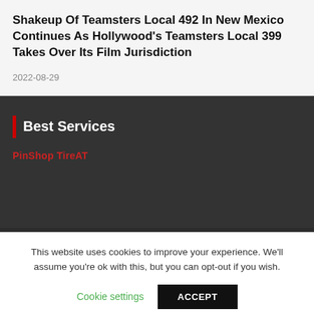Shakeup Of Teamsters Local 492 In New Mexico Continues As Hollywood's Teamsters Local 399 Takes Over Its Film Jurisdiction
2022-08-29
Best Services
PinShop TireAT
This website uses cookies to improve your experience. We'll assume you're ok with this, but you can opt-out if you wish.
Cookie settings
ACCEPT